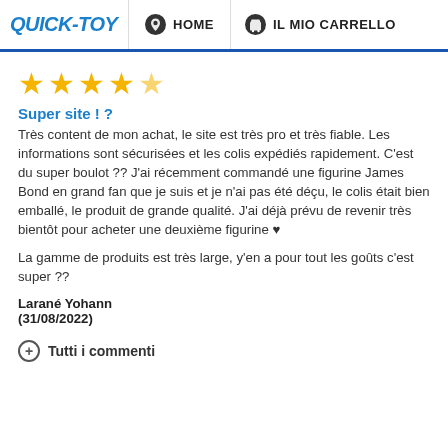QUICK-TOY | HOME | IL MIO CARRELLO
[Figure (other): 4 gold/yellow star rating out of 5]
Super site ! ?
Très content de mon achat, le site est très pro et très fiable. Les informations sont sécurisées et les colis expédiés rapidement. C'est du super boulot ?? J'ai récemment commandé une figurine James Bond en grand fan que je suis et je n'ai pas été déçu, le colis était bien emballé, le produit de grande qualité. J'ai déjà prévu de revenir très bientôt pour acheter une deuxième figurine ♥
La gamme de produits est très large, y'en a pour tout les goûts c'est super ??
Larané Yohann
(31/08/2022)
Tutti i commenti